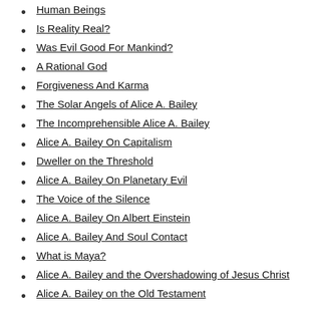Human Beings
Is Reality Real?
Was Evil Good For Mankind?
A Rational God
Forgiveness And Karma
The Solar Angels of Alice A. Bailey
The Incomprehensible Alice A. Bailey
Alice A. Bailey On Capitalism
Dweller on the Threshold
Alice A. Bailey On Planetary Evil
The Voice of the Silence
Alice A. Bailey On Albert Einstein
Alice A. Bailey And Soul Contact
What is Maya?
Alice A. Bailey and the Overshadowing of Jesus Christ
Alice A. Bailey on the Old Testament